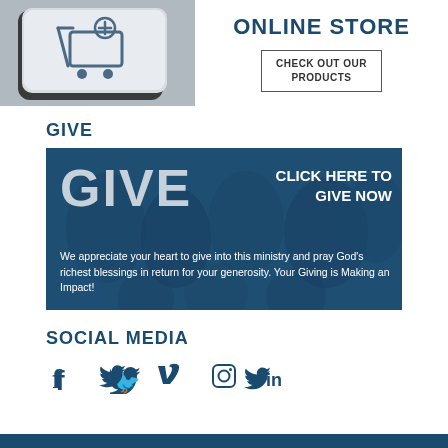[Figure (illustration): Keyboard key with shopping cart icon representing an online store]
ONLINE STORE
CHECK OUT OUR PRODUCTS
GIVE
[Figure (infographic): Dark blue banner with GIVE text, CLICK HERE TO GIVE NOW, and ministry giving message]
SOCIAL MEDIA
[Figure (infographic): Social media icons: Facebook, Twitter, Vimeo, Instagram, LinkedIn]